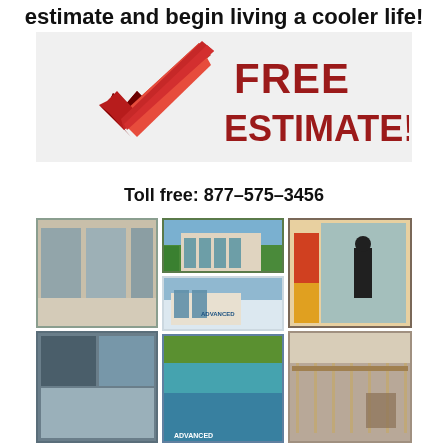estimate and begin living a cooler life!
[Figure (illustration): Red checkmark badge with text FREE ESTIMATE! in bold dark red letters on light gray background]
Toll free: 877-575-3456
[Figure (photo): Collage of six photos showing window tinting work on luxury homes and buildings, including interior shots with large glass windows, exterior building views, workers installing window film, and Advanced Film Solutions branding]